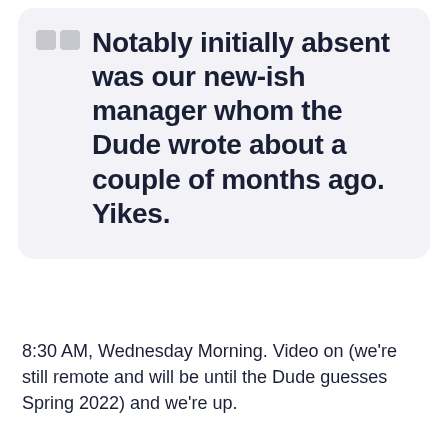Notably initially absent was our new-ish manager whom the Dude wrote about a couple of months ago. Yikes.
8:30 AM, Wednesday Morning. Video on (we're still remote and will be until the Dude guesses Spring 2022) and we're up.